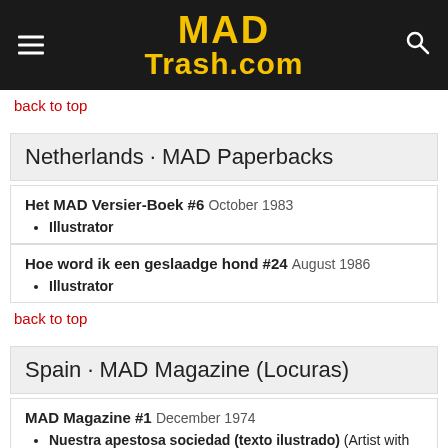MAD Trash.com
back to top
Netherlands · MAD Paperbacks
Het MAD Versier-Boek #6  October 1983
Illustrator
Hoe word ik een geslaadge hond #24  August 1986
Illustrator
back to top
Spain · MAD Magazine (Locuras)
MAD Magazine #1  December 1974
Nuestra apestosa sociedad (texto ilustrado) (Artist with Sy Reit)